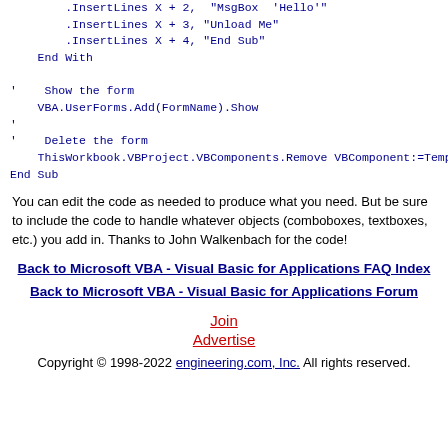.InsertLines X + 2, "MsgBox  'Hello'"
        .InsertLines X + 3, "Unload Me"
        .InsertLines X + 4, "End Sub"
    End With

'    Show the form
    VBA.UserForms.Add(FormName).Show
'
'    Delete the form
    ThisWorkbook.VBProject.VBComponents.Remove VBComponent:=TempForm
End Sub
You can edit the code as needed to produce what you need. But be sure to include the code to handle whatever objects (comboboxes, textboxes, etc.) you add in.  Thanks to John Walkenbach for the code!
Back to Microsoft VBA - Visual Basic for Applications FAQ Index
Back to Microsoft VBA - Visual Basic for Applications Forum
Join
Advertise
Copyright © 1998-2022 engineering.com, Inc. All rights reserved.